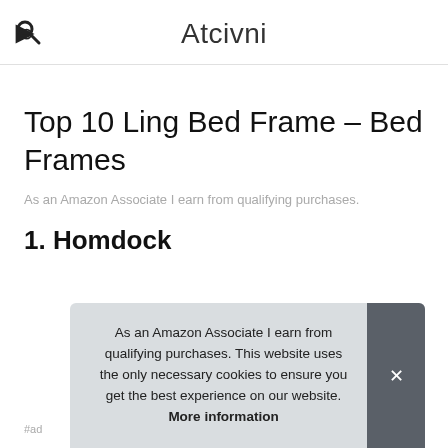Atcivni
Top 10 Ling Bed Frame – Bed Frames
As an Amazon Associate I earn from qualifying purchases.
1. Homdock
#ad
As an Amazon Associate I earn from qualifying purchases. This website uses the only necessary cookies to ensure you get the best experience on our website. More information